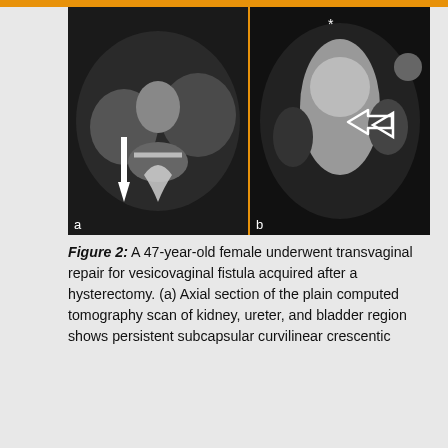[Figure (photo): Two CT scan images side by side labeled 'a' and 'b'. Image (a) shows an axial section CT scan of the abdomen with a white upward-pointing arrow. Image (b) shows another CT scan view with a white leftward-pointing hollow arrow.]
Figure 2: A 47-year-old female underwent transvaginal repair for vesicovaginal fistula acquired after a hysterectomy. (a) Axial section of the plain computed tomography scan of kidney, ureter, and bladder region shows persistent subcapsular curvilinear crescentic
We use cookies on our website to give you the most relevant experience by remembering your preferences and repeat visits. By clicking “Accept”, you consent to the use of ALL the cookies.
Do not sell my personal information
Cookie Settings   Accept